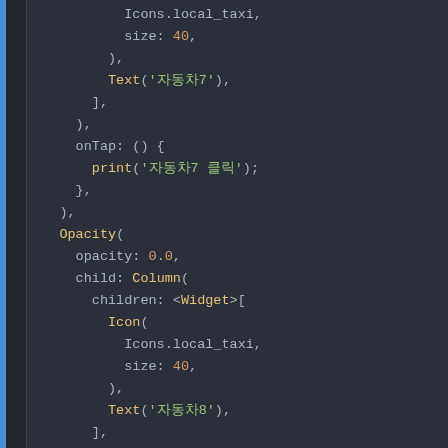Code screenshot showing Flutter/Dart code with Korean text labels for taxi icon widgets, including Opacity, Column, Icon, Text widgets with onTap handlers